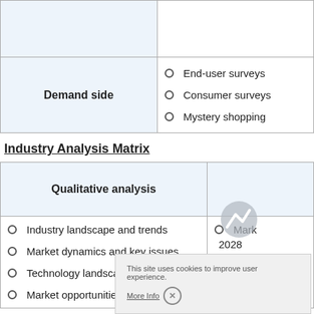|  |  |
| --- | --- |
|  |  |
| Demand side | End-user surveys
Consumer surveys
Mystery shopping |
Industry Analysis Matrix
| Qualitative analysis |  |
| --- | --- |
| Industry landscape and trends
Market dynamics and key issues
Technology landscape
Market opportunities | Mark...
2028
...k
...oy |